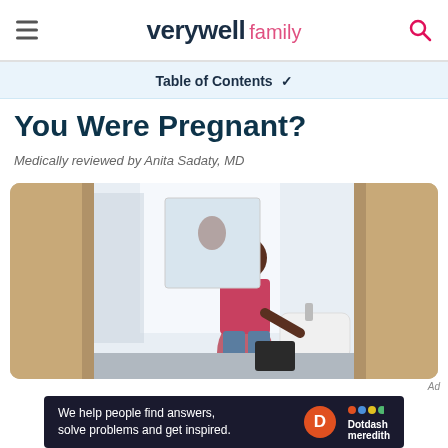verywell family
Table of Contents
You Were Pregnant?
Medically reviewed by Anita Sadaty, MD
[Figure (photo): A woman standing at a bathroom sink, viewed from behind/side, wearing a pink patterned top and jeans, with her hair in a bun. The bathroom is bright with natural light.]
Ad
We help people find answers, solve problems and get inspired. Dotdash meredith